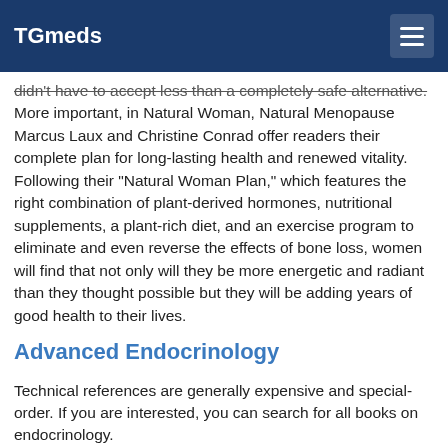TGmeds
didn't have to accept less than a completely safe alternative. More important, in Natural Woman, Natural Menopause Marcus Laux and Christine Conrad offer readers their complete plan for long-lasting health and renewed vitality. Following their "Natural Woman Plan," which features the right combination of plant-derived hormones, nutritional supplements, a plant-rich diet, and an exercise program to eliminate and even reverse the effects of bone loss, women will find that not only will they be more energetic and radiant than they thought possible but they will be adding years of good health to their lives.
Advanced Endocrinology
Technical references are generally expensive and special-order. If you are interested, you can search for all books on endocrinology.
Of General Interest to Transsexuals
Body Alchemy : Photographs
http://www.amazon.com/exec/obidos/ISBN=1573440620/confluencepu
by Loren Cameron Body Alchemy: Transsexual Portraits is photographer Loren Cameron's intensely personal photo documentary of female-to-male transsexuals (FTMs). A transsexual